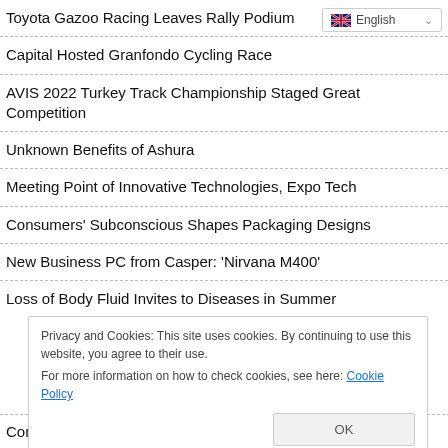Toyota Gazoo Racing Leaves Rally Podium
Capital Hosted Granfondo Cycling Race
AVIS 2022 Turkey Track Championship Staged Great Competition
Unknown Benefits of Ashura
Meeting Point of Innovative Technologies, Expo Tech
Consumers' Subconscious Shapes Packaging Designs
New Business PC from Casper: 'Nirvana M400'
Loss of Body Fluid Invites to Diseases in Summer
Privacy and Cookies: This site uses cookies. By continuing to use this website, you agree to their use.
For more information on how to check cookies, see here: Cookie Policy
Construction Costs Increased, Housing Loans Should Be